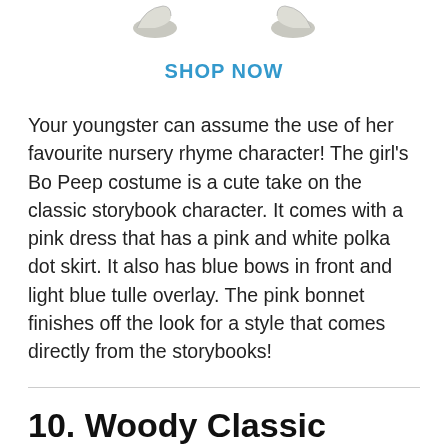[Figure (photo): Partial view of two white/grey shoes at the top of the page]
SHOP NOW
Your youngster can assume the use of her favourite nursery rhyme character! The girl's Bo Peep costume is a cute take on the classic storybook character. It comes with a pink dress that has a pink and white polka dot skirt. It also has blue bows in front and light blue tulle overlay. The pink bonnet finishes off the look for a style that comes directly from the storybooks!
10. Woody Classic Child